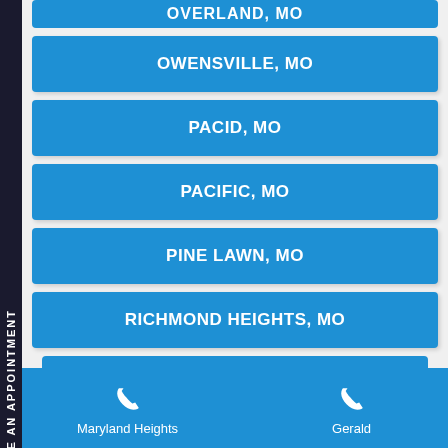OVERLAND, MO
OWENSVILLE, MO
PACID, MO
PACIFIC, MO
PINE LAWN, MO
RICHMOND HEIGHTS, MO
ROCK HILL, MO
Maryland Heights  Gerald